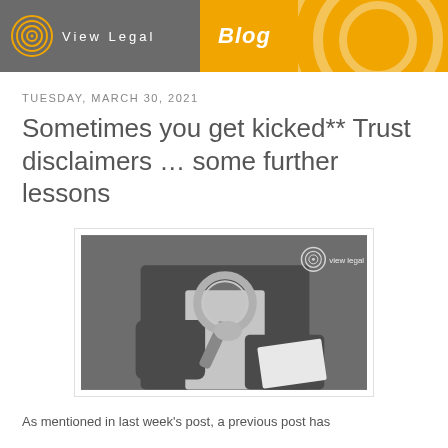View Legal | Blog
TUESDAY, MARCH 30, 2021
Sometimes you get kicked** Trust disclaimers … some further lessons
[Figure (photo): Black and white photo of a person in a blazer holding a magnifying glass and papers, with View Legal logo watermark in top right]
As mentioned in last week's post, a previous post has